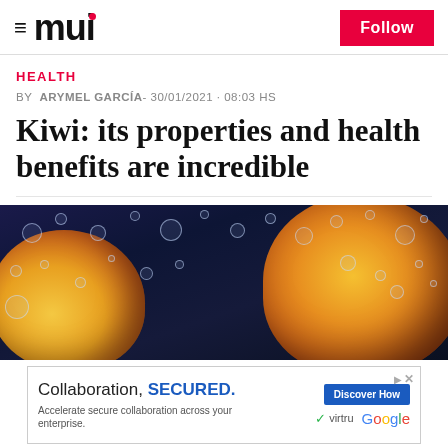≡ mui  Follow
HEALTH
BY  ARYMEL GARCÍA- 30/01/2021 · 08:03 HS
Kiwi: its properties and health benefits are incredible
[Figure (photo): Close-up photo of kiwi fruits submerged in water with bubbles on a dark blue background]
[Figure (screenshot): Advertisement: 'Collaboration, SECURED.' by Virtru and Google. 'Accelerate secure collaboration across your enterprise.' with a blue Discover How button.]